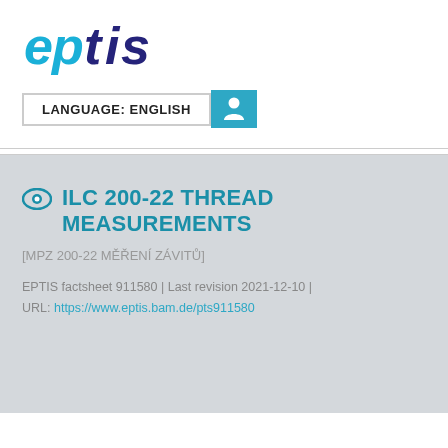[Figure (logo): eptis logo — stylized text in blue and dark navy]
LANGUAGE: ENGLISH
ILC 200-22 THREAD MEASUREMENTS
[MPZ 200-22 MĚŘENÍ ZÁVITŮ]
EPTIS factsheet 911580 | Last revision 2021-12-10 | URL: https://www.eptis.bam.de/pts911580